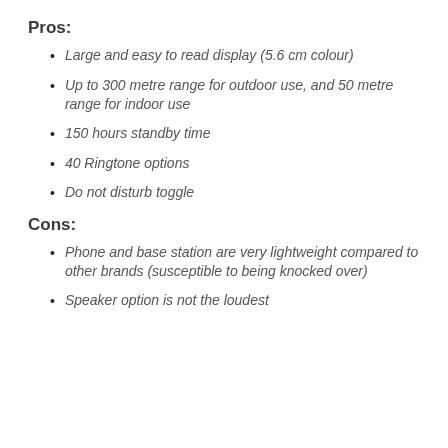Pros:
Large and easy to read display (5.6 cm colour)
Up to 300 metre range for outdoor use, and 50 metre range for indoor use
150 hours standby time
40 Ringtone options
Do not disturb toggle
Cons:
Phone and base station are very lightweight compared to other brands (susceptible to being knocked over)
Speaker option is not the loudest